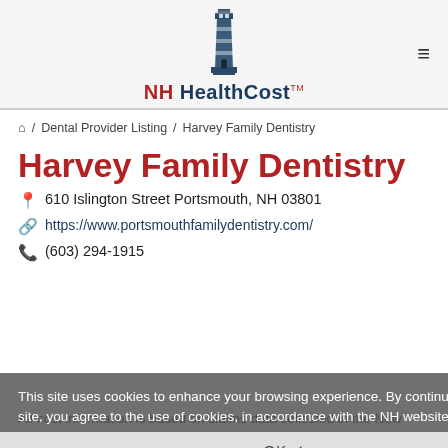[Figure (logo): NH HealthCost lighthouse logo with brand name]
⌂ / Dental Provider Listing / Harvey Family Dentistry
Harvey Family Dentistry
📍 610 Islington Street Portsmouth, NH 03801
🔗 https://www.portsmouthfamilydentistry.com/
📞 (603) 294-1915
This site uses cookies to enhance your browsing experience. By continuing to use this site, you agree to the use of cookies, in accordance with the NH website Privacy Policy
OK ✓
All cost information is based on claims data collected in the New Hampshire Comprehensive Healthcare Information System which is